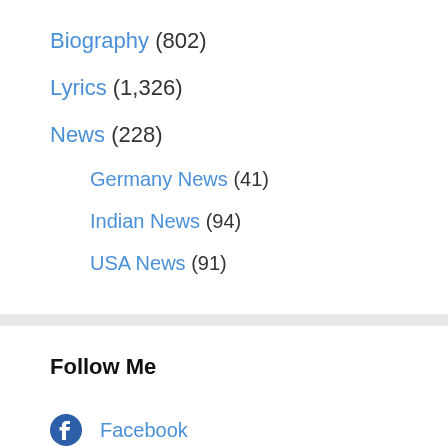Biography (802)
Lyrics (1,326)
News (228)
Germany News (41)
Indian News (94)
USA News (91)
Follow Me
Facebook
Twitter